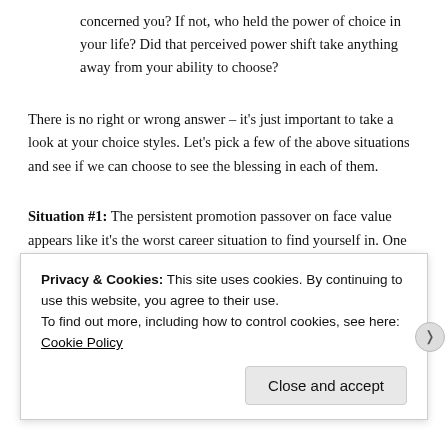concerned you? If not, who held the power of choice in your life? Did that perceived power shift take anything away from your ability to choose?
There is no right or wrong answer – it's just important to take a look at your choice styles. Let's pick a few of the above situations and see if we can choose to see the blessing in each of them.
Situation #1: The persistent promotion passover on face value appears like it's the worst career situation to find yourself in. One could resign themselves to feeling unwanted and unsupported, which in turn generates behaviors in yourself and those around you that may result in undesirable changes, such as being fired. The
Privacy & Cookies: This site uses cookies. By continuing to use this website, you agree to their use.
To find out more, including how to control cookies, see here: Cookie Policy
Close and accept